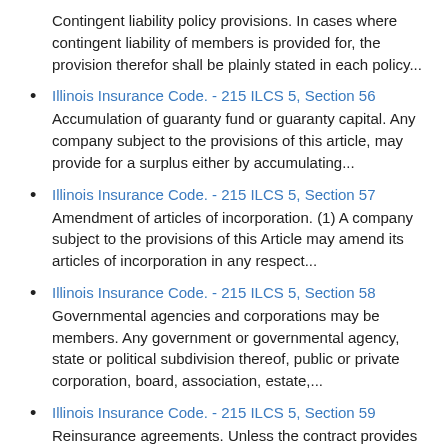Contingent liability policy provisions. In cases where contingent liability of members is provided for, the provision therefor shall be plainly stated in each policy...
Illinois Insurance Code. - 215 ILCS 5, Section 56
Accumulation of guaranty fund or guaranty capital. Any company subject to the provisions of this article, may provide for a surplus either by accumulating...
Illinois Insurance Code. - 215 ILCS 5, Section 57
Amendment of articles of incorporation. (1) A company subject to the provisions of this Article may amend its articles of incorporation in any respect...
Illinois Insurance Code. - 215 ILCS 5, Section 58
Governmental agencies and corporations may be members. Any government or governmental agency, state or political subdivision thereof, public or private corporation, board, association, estate,...
Illinois Insurance Code. - 215 ILCS 5, Section 59
Reinsurance agreements. Unless the contract provides otherwise any reinsurance agreement effected by any company subject to the provisions of this article upon the